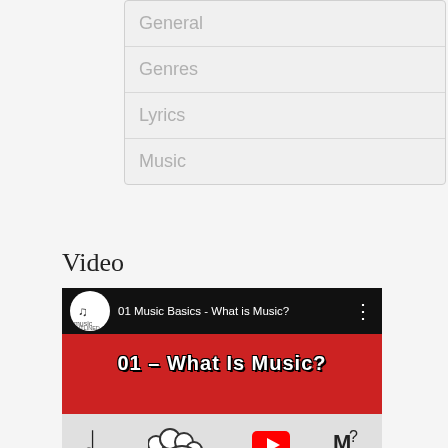General
Genres
Lyrics
Music
Video
[Figure (screenshot): YouTube video thumbnail for '01 Music Basics - What is Music?' by Music Outlined channel, showing a red banner with white bold text '01 - What Is Music?' and cartoon doodles below including a music note, cloud bubble, YouTube play button icon, and letter M with a question mark.]